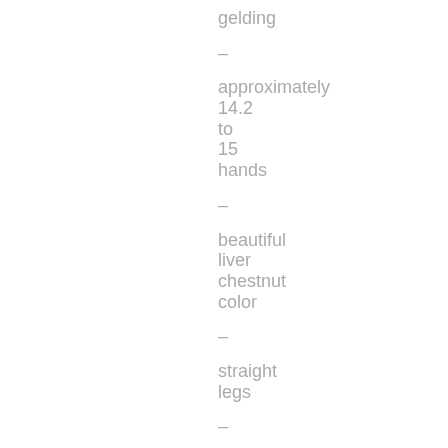gelding – approximately 14.2 to 15 hands – beautiful liver chestnut color – straight legs –